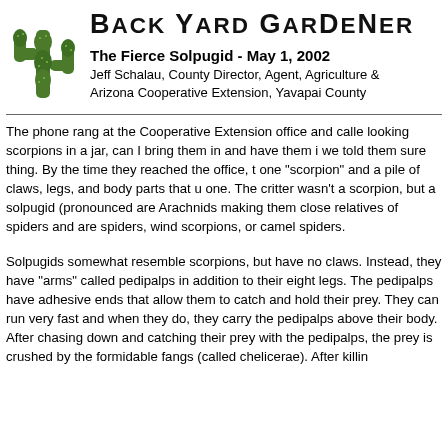Back Yard Gardener
The Fierce Solpugid - May 1, 2002
Jeff Schalau, County Director, Agent, Agriculture & Arizona Cooperative Extension, Yavapai County
The phone rang at the Cooperative Extension office and caller looking scorpions in a jar, can I bring them in and have them i we told them sure thing. By the time they reached the office, t one "scorpion" and a pile of claws, legs, and body parts that u one. The critter wasn't a scorpion, but a solpugid (pronounced are Arachnids making them close relatives of spiders and are spiders, wind scorpions, or camel spiders.
Solpugids somewhat resemble scorpions, but have no claws. Instead, they have "arms" called pedipalps in addition to their eight legs. The pedipalps have adhesive ends that allow them to catch and hold their prey. They can run very fast and when they do, they carry the pedipalps above their body. After chasing down and catching their prey with the pedipalps, the prey is crushed by the formidable fangs (called chelicerae). After killin